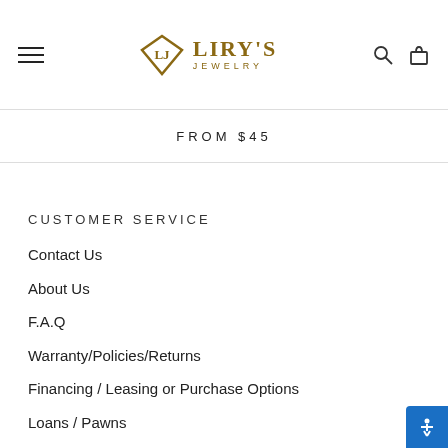Liry's Jewelry — site header with hamburger menu, logo, search and bag icons
FROM $45
CUSTOMER SERVICE
Contact Us
About Us
F.A.Q
Warranty/Policies/Returns
Financing / Leasing or Purchase Options
Loans / Pawns
Products